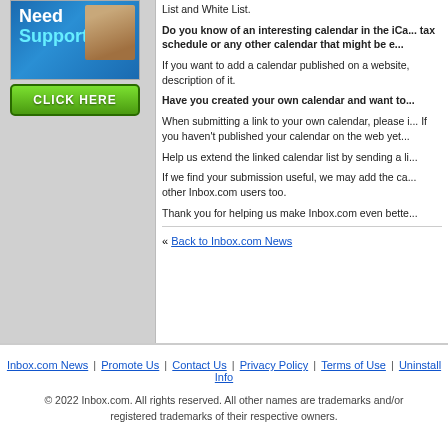[Figure (illustration): Need Support? CLICK HERE banner ad with photo of two people and green button]
List and White List.
Do you know of an interesting calendar in the iCa... tax schedule or any other calendar that might be e...
If you want to add a calendar published on a website, description of it.
Have you created your own calendar and want to...
When submitting a link to your own calendar, please i... If you haven't published your calendar on the web yet...
Help us extend the linked calendar list by sending a li...
If we find your submission useful, we may add the ca... other Inbox.com users too.
Thank you for helping us make Inbox.com even bette...
« Back to Inbox.com News
Inbox.com News | Promote Us | Contact Us | Privacy Policy | Terms of Use | Uninstall Info
© 2022 Inbox.com. All rights reserved. All other names are trademarks and/or registered trademarks of their respective owners.